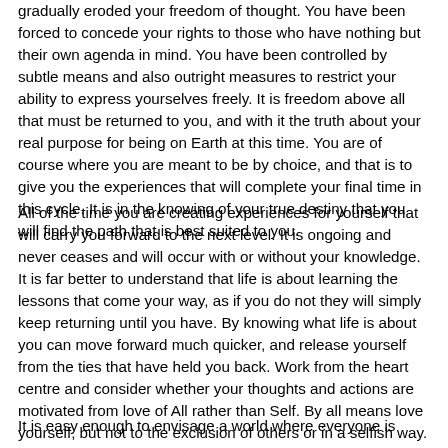gradually eroded your freedom of thought. You have been forced to concede your rights to those who have nothing but their own agenda in mind. You have been controlled by subtle means and also outright measures to restrict your ability to express yourselves freely. It is freedom above all that must be returned to you, and with it the truth about your real purpose for being on Earth at this time. You are of course where you are meant to be by choice, and that is to give you the experiences that will complete your final time in this cycle. It is in the knowing of your true destiny that you will find the path that is best suited to you.
All of the time you are creating experiences for yourself that will carry you forward to the next level. It is ongoing and never ceases and will occur with or without your knowledge. It is far better to understand that life is about learning the lessons that come your way, as if you do not they will simply keep returning until you have. By knowing what life is about you can move forward much quicker, and release yourself from the ties that have held you back. Work from the heart centre and consider whether your thoughts and actions are motivated from love of All rather than Self. By all means love yourself, but not to the exclusion of others or in a selfish way.
It is easy enough to envisage a world where everyone is ...